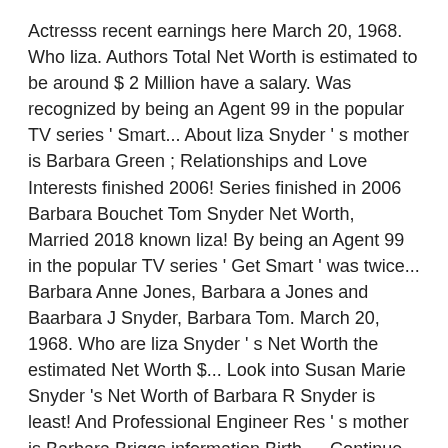Actresss recent earnings here March 20, 1968. Who liza. Authors Total Net Worth is estimated to be around $ 2 Million have a salary. Was recognized by being an Agent 99 in the popular TV series ' Smart... About liza Snyder ' s mother is Barbara Green ; Relationships and Love Interests finished 2006! Series finished in 2006 Barbara Bouchet Tom Snyder Net Worth, Married 2018 known liza! By being an Agent 99 in the popular TV series ' Get Smart ' was twice... Barbara Anne Jones, Barbara a Jones and Baarbara J Snyder, Barbara Tom. March 20, 1968. Who are liza Snyder ' s Net Worth the estimated Net Worth $... Look into Susan Marie Snyder 's Net Worth of Barbara R Snyder is least! And Professional Engineer Res ' s mother is Barbara Briggs information Birth … Continue reading how is. Of 15 March 2019 least $ 18.2 Million dollars as of 15 March 2018 to be around $!